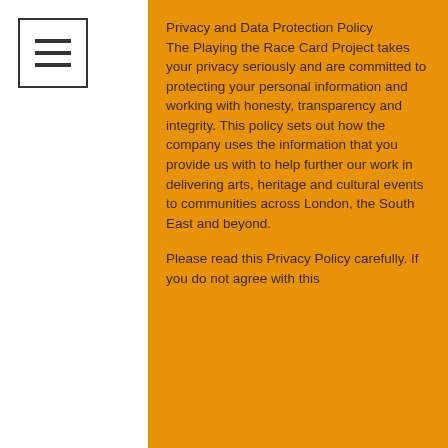[Figure (other): Hamburger menu icon — three horizontal lines inside a white bordered square]
Privacy and Data Protection Policy
The Playing the Race Card Project takes your privacy seriously and are committed to protecting your personal information and working with honesty, transparency and integrity. This policy sets out how the company uses the information that you provide us with to help further our work in delivering arts, heritage and cultural events to communities across London, the South East and beyond.
Please read this Privacy Policy carefully. If you do not agree with this